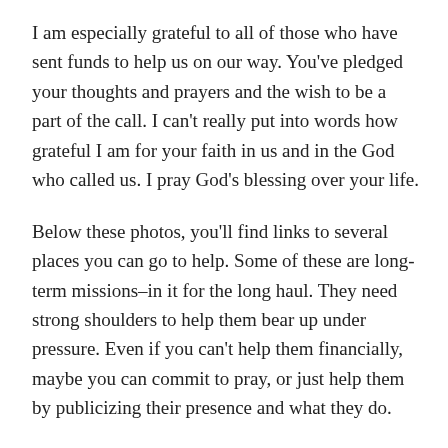I am especially grateful to all of those who have sent funds to help us on our way. You've pledged your thoughts and prayers and the wish to be a part of the call. I can't really put into words how grateful I am for your faith in us and in the God who called us. I pray God's blessing over your life.
Below these photos, you'll find links to several places you can go to help. Some of these are long-term missions–in it for the long haul. They need strong shoulders to help them bear up under pressure. Even if you can't help them financially, maybe you can commit to pray, or just help them by publicizing their presence and what they do.